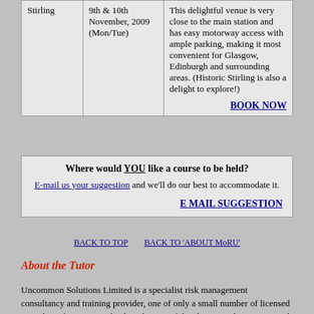| Location | Date | Description |
| --- | --- | --- |
| Stirling | 9th & 10th November, 2009 (Mon/Tue) | This delightful venue is very close to the main station and has easy motorway access with ample parking, making it most convenient for Glasgow, Edinburgh and surrounding areas. (Historic Stirling is also a delight to explore!)  BOOK NOW |
Where would YOU like a course to be held? E-mail us your suggestion and we'll do our best to accommodate it.  E MAIL SUGGESTION
BACK TO TOP   BACK TO 'ABOUT MoRU'
About the Tutor
Uncommon Solutions Limited is a specialist risk management consultancy and training provider, one of only a small number of licensed providers of MoRU. With a long history of developing and presenting risk management courses, your tutor will be able to add the specialist practitioner's knowledge and experience to bring the subject to life.